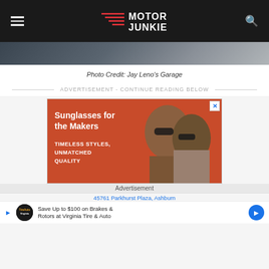Motor Junkie
[Figure (photo): Partial photo strip showing a car or automotive scene, dark tones]
Photo Credit: Jay Leno's Garage
ADVERTISEMENT - CONTINUE READING BELOW
[Figure (photo): Advertisement for sunglasses featuring two women wearing sunglasses against an orange background. Text reads: Sunglasses for the Makers. TIMELESS STYLES. UNMATCHED QUALITY.]
Advertisement
45761 Parkhurst Plaza, Ashburn
Save Up to $100 on Brakes & Rotors at Virginia Tire & Auto